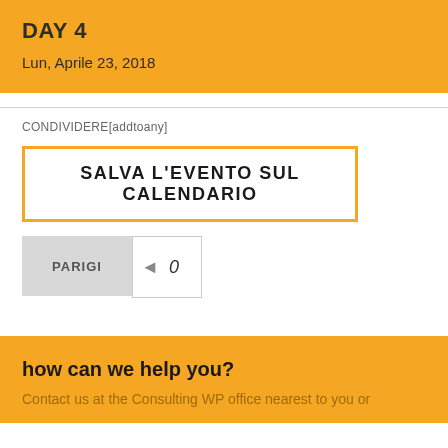DAY 4
Lun, Aprile 23, 2018
CONDIVIDERE[addtoany]
SALVA L'EVENTO SUL CALENDARIO
PARIGI  ◄  0
how can we help you?
Contact us at the Consulting WP office nearest to you or